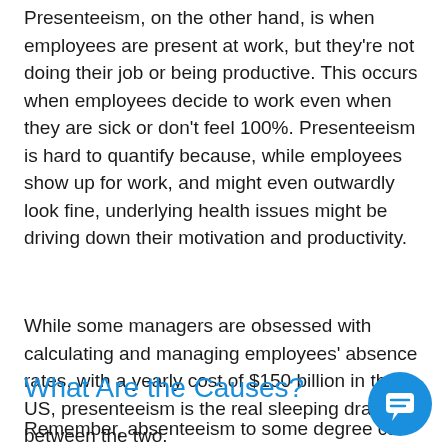Presenteeism, on the other hand, is when employees are present at work, but they're not doing their job or being productive. This occurs when employees decide to work even when they are sick or don't feel 100%. Presenteeism is hard to quantify because, while employees show up for work, and might even outwardly look fine, underlying health issues might be driving down their motivation and productivity.
While some managers are obsessed with calculating and managing employees' absence rates, with a yearly cost of $150 billion in the US, presenteeism is the real sleeping dragon between the two.
What Are the Causes?
Remember, absenteeism to some degree can be
[Figure (other): Blue circular chat/comment button icon in the bottom right corner]